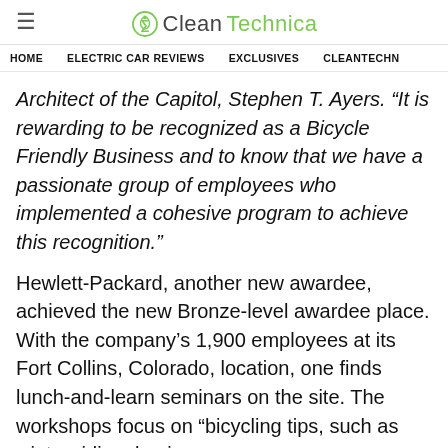CleanTechnica
HOME   ELECTRIC CAR REVIEWS   EXCLUSIVES   CLEANTECHN
Architect of the Capitol, Stephen T. Ayers. “It is rewarding to be recognized as a Bicycle Friendly Business and to know that we have a passionate group of employees who implemented a cohesive program to achieve this recognition.”
Hewlett-Packard, another new awardee, achieved the new Bronze-level awardee place. With the company’s 1,900 employees at its Fort Collins, Colorado, location, one finds lunch-and-learn seminars on the site. The workshops focus on “bicycling tips, such as winter riding, basic